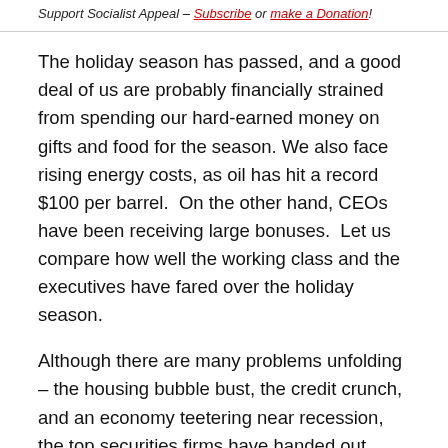Support Socialist Appeal – Subscribe or make a Donation!
The holiday season has passed, and a good deal of us are probably financially strained from spending our hard-earned money on gifts and food for the season. We also face rising energy costs, as oil has hit a record $100 per barrel.  On the other hand, CEOs have been receiving large bonuses.  Let us compare how well the working class and the executives have fared over the holiday season.
Although there are many problems unfolding – the housing bubble bust, the credit crunch, and an economy teetering near recession, the top securities firms have handed out nearly $38 billion in seasonal bonuses, the highest total ever.